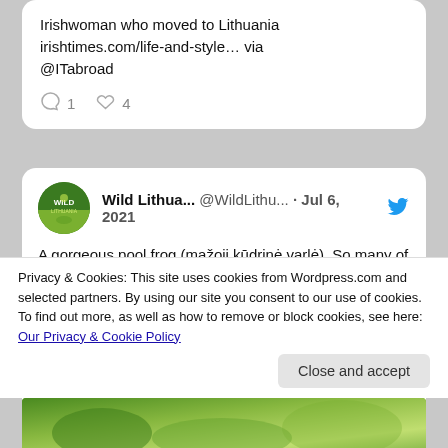Irishwoman who moved to Lithuania irishtimes.com/life-and-style… via @ITabroad
1   4
Wild Lithua... @WildLithu... · Jul 6, 2021
A gorgeous pool frog (mažoji kūdrinė varlė). So many of these along the Nemunas - they sing us to sleep at night!
#WildLithuania #Lithuania #visitLithuania #Lietuva #Nemunas #Nemo #glamping #camping #raft #sailing #riverlife #adventure
Privacy & Cookies: This site uses cookies from Wordpress.com and selected partners. By using our site you consent to our use of cookies. To find out more, as well as how to remove or block cookies, see here: Our Privacy & Cookie Policy
Close and accept
[Figure (photo): Bottom strip showing a partial green nature/frog photo]